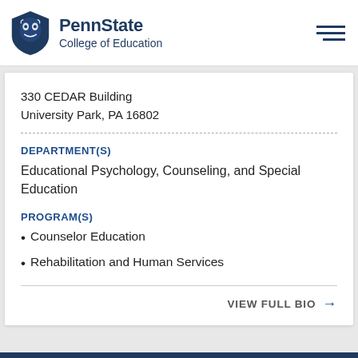PennState College of Education
330 CEDAR Building
University Park, PA 16802
DEPARTMENT(S)
Educational Psychology, Counseling, and Special Education
PROGRAM(S)
Counselor Education
Rehabilitation and Human Services
VIEW FULL BIO →